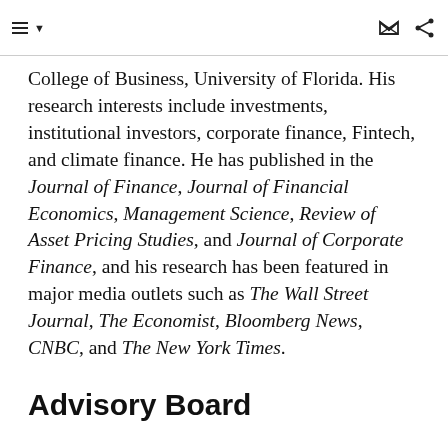College of Business, University of Florida. His research interests include investments, institutional investors, corporate finance, Fintech, and climate finance. He has published in the Journal of Finance, Journal of Financial Economics, Management Science, Review of Asset Pricing Studies, and Journal of Corporate Finance, and his research has been featured in major media outlets such as The Wall Street Journal, The Economist, Bloomberg News, CNBC, and The New York Times.
Advisory Board
George J. Borjas
[Figure (photo): Photo of George J. Borjas (partially visible at bottom of page)]